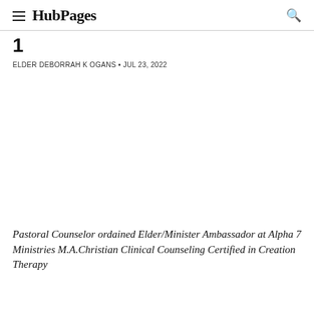HubPages
1
ELDER DEBORRAH K OGANS • JUL 23, 2022
[Figure (photo): Large white/blank image area]
Pastoral Counselor ordained Elder/Minister Ambassador at Alpha 7 Ministries M.A.Christian Clinical Counseling Certified in Creation Therapy